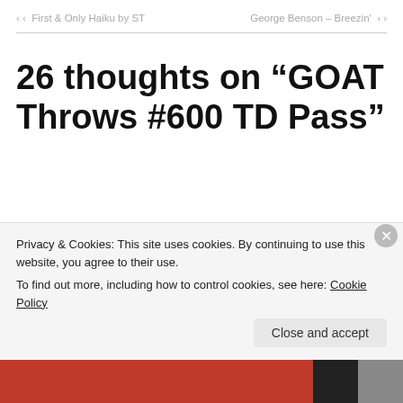< First & Only Haiku by ST
George Benson – Breezin' >
26 thoughts on “GOAT Throws #600 TD Pass”
elizabeth dunn
Privacy & Cookies: This site uses cookies. By continuing to use this website, you agree to their use.
To find out more, including how to control cookies, see here: Cookie Policy
Close and accept